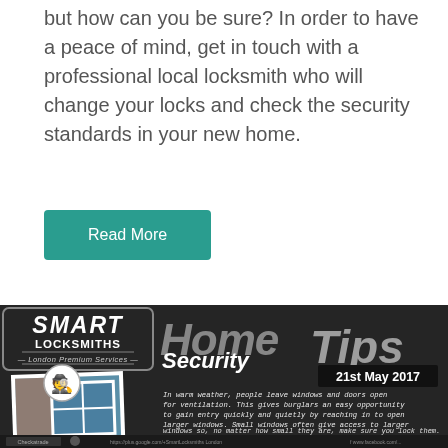but how can you be sure? In order to have a peace of mind, get in touch with a professional local locksmith who will change your locks and check the security standards in your new home.
Read More
[Figure (infographic): Smart Locksmiths London Premium Services infographic about Home Security Tips dated 21st May 2017, showing a polaroid photo of a house window and text about burglary risks from open windows.]